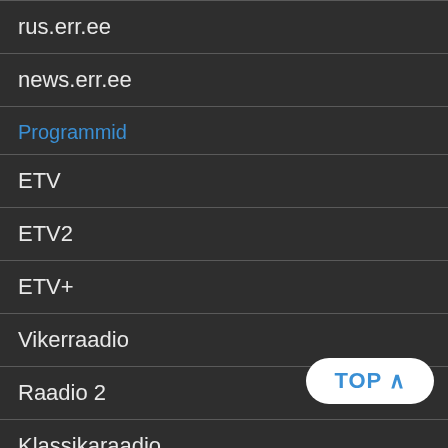rus.err.ee
news.err.ee
Programmid
ETV
ETV2
ETV+
Vikerraadio
Raadio 2
Klassikaraadio
Raadio 4
Raadio Tallinn